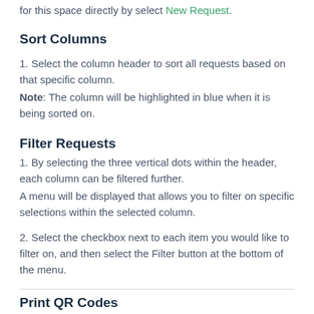for this space directly by select New Request.
Sort Columns
1. Select the column header to sort all requests based on that specific column.
Note: The column will be highlighted in blue when it is being sorted on.
Filter Requests
1. By selecting the three vertical dots within the header, each column can be filtered further.
A menu will be displayed that allows you to filter on specific selections within the selected column.
2. Select the checkbox next to each item you would like to filter on, and then select the Filter button at the bottom of the menu.
Print QR Codes